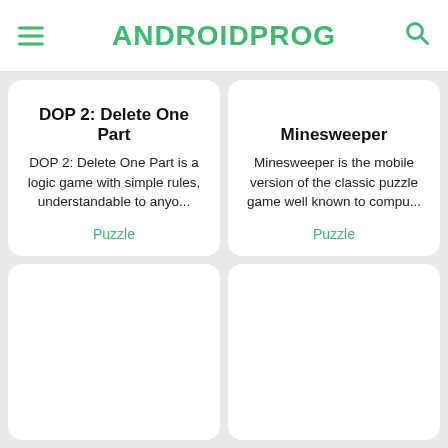ANDROIDPROG
DOP 2: Delete One Part
DOP 2: Delete One Part is a logic game with simple rules, understandable to anyo...
Puzzle
Minesweeper
Minesweeper is the mobile version of the classic puzzle game well known to compu...
Puzzle